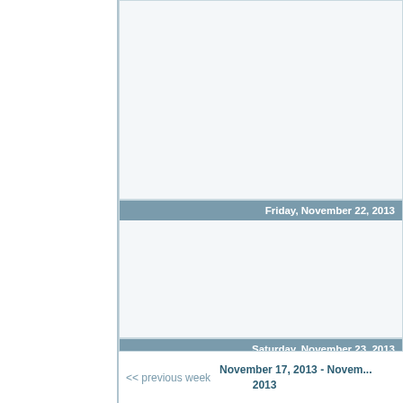Friday, November 22, 2013
Saturday, November 23, 2013
<< previous week
November 17, 2013 - November 23, 2013